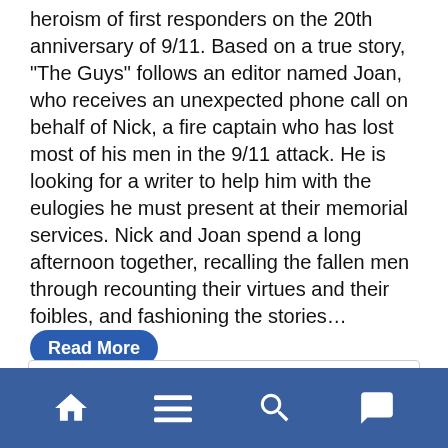heroism of first responders on the 20th anniversary of 9/11. Based on a true story, "The Guys" follows an editor named Joan, who receives an unexpected phone call on behalf of Nick, a fire captain who has lost most of his men in the 9/11 attack. He is looking for a writer to help him with the eulogies he must present at their memorial services. Nick and Joan spend a long afternoon together, recalling the fallen men through recounting their virtues and their foibles, and fashioning the stories… Read More
Tagged: 9/11 TRIBUTE SHOW | BLACK BOX THEATER PRESENTING THE GUYS | BLACK BOX THEATRE | MOLINE | MOLINE'S BLACK BOX THEATRE PRESENTING 9/11 TRIBUTE SHOW THE GUYS | THE GUYS